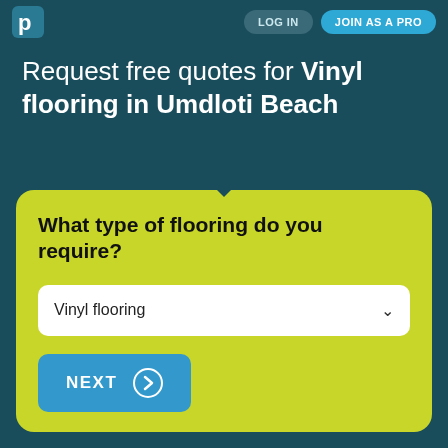LOG IN | JOIN AS A PRO
Request free quotes for Vinyl flooring in Umdloti Beach
What type of flooring do you require?
Vinyl flooring
NEXT